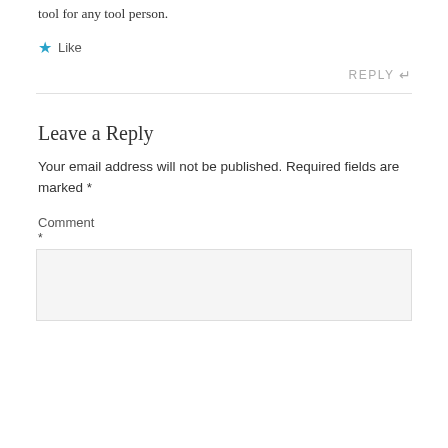tool for any tool person.
★ Like
REPLY ↩
Leave a Reply
Your email address will not be published. Required fields are marked *
Comment
*